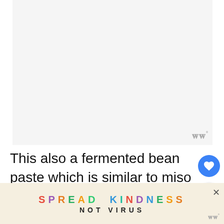[Figure (photo): Light gray blank image placeholder area]
This also a fermented bean paste which is similar to miso paste. When substituting m sure to less because it is very salty and you ca
[Figure (infographic): Advertisement banner: SPREAD KINDNESS NOT VIRUS with colorful letters on a beige/cream background, with a close X button]